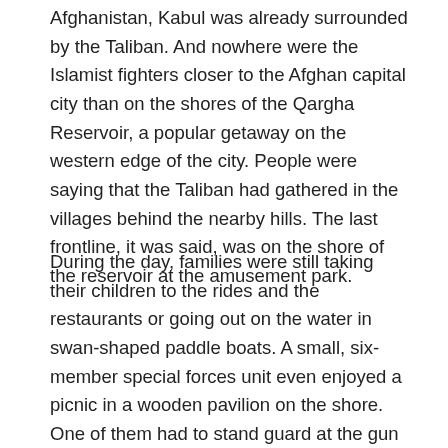Afghanistan, Kabul was already surrounded by the Taliban. And nowhere were the Islamist fighters closer to the Afghan capital city than on the shores of the Qargha Reservoir, a popular getaway on the western edge of the city. People were saying that the Taliban had gathered in the villages behind the nearby hills. The last frontline, it was said, was on the shore of the reservoir at the amusement park.
During the day, families were still taking their children to the rides and the restaurants or going out on the water in swan-shaped paddle boats. A small, six-member special forces unit even enjoyed a picnic in a wooden pavilion on the shore. One of them had to stand guard at the gun turret of their armored Humvee as the rest smoked hookahs and drank colorful sodas.